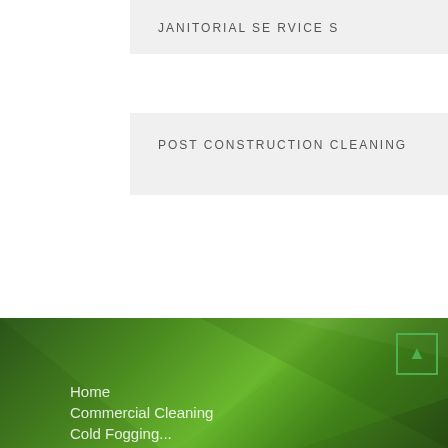JANITORIAL SERVICES
POST CONSTRUCTION CLEANING
Home
Commercial Cleaning
Cold Fogging...